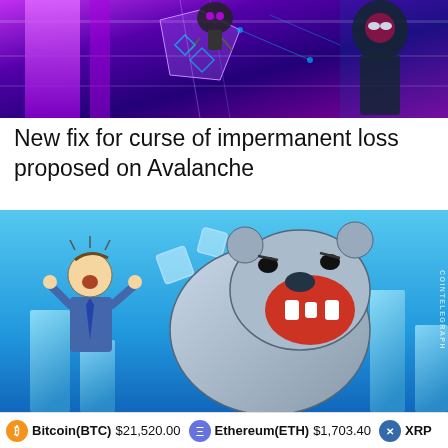[Figure (illustration): Colorful stylized crypto/DeFi themed illustration with purple and blue tones, showing robotic or animated characters on a geometric background]
New fix for curse of impermanent loss proposed on Avalanche
[Figure (illustration): Illustrated bear market image showing a roaring polar bear surrounded by falling blue bar chart columns and a distressed man in a suit, with COINTELEGRAPH watermark, on a blue background]
Bitcoin(BTC) $21,520.00   Ethereum(ETH) $1,703.40   XRP